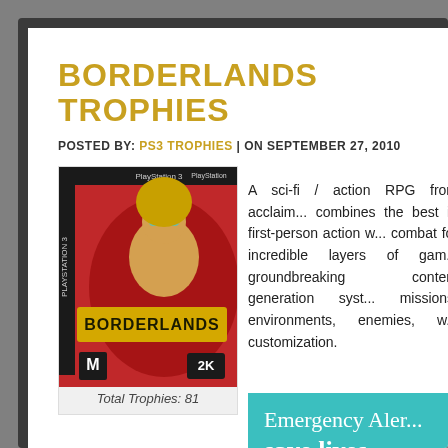BORDERLANDS TROPHIES
POSTED BY: PS3 TROPHIES | ON SEPTEMBER 27, 2010
[Figure (illustration): Borderlands PS3 game cover showing a character with goggles and the Borderlands logo]
Total Trophies: 81
A sci-fi / action RPG from acclaimed... combines the best in first-person action with combat for incredible layers of gameplay, groundbreaking content generation system, missions, environments, enemies, weapons, customization.
[Figure (infographic): Emergency Alert advertisement banner reading 'Emergency Alert save lives.']